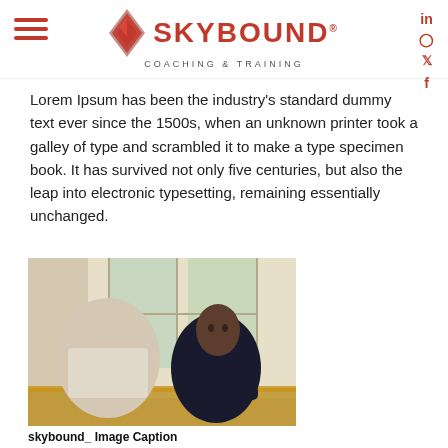SKYBOUND COACHING & TRAINING
Lorem Ipsum has been the industry's standard dummy text ever since the 1500s, when an unknown printer took a galley of type and scrambled it to make a type specimen book. It has survived not only five centuries, but also the leap into electronic typesetting, remaining essentially unchanged.
[Figure (photo): Two people sitting across from each other at a table, appearing to be in a coaching or mentoring conversation. One person seen from behind, the other facing the camera. Indoor setting with blurred windows in background.]
skybound_ Image Caption